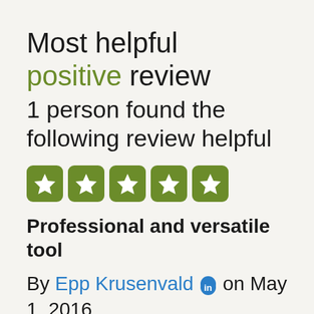Most helpful positive review
1 person found the following review helpful
[Figure (other): Five green star rating boxes showing 5-star rating]
Professional and versatile tool
By Epp Krusenvald on May 1, 2016
If you can fit Edible to your